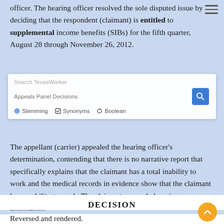officer. The hearing officer resolved the sole disputed issue by deciding that the respondent (claimant) is entitled to supplemental income benefits (SIBs) for the fifth quarter, August 28 through November 26, 2012. The appellant (carrier) appealed the hearing officer's determination, contending that there is no narrative report that specifically explains that the claimant has a total inability to work and the medical records in evidence show that the claimant has an ability to work. The claimant responded, urging affirmance.
DECISION
Reversed and rendered.
The claimant testified that he was employed as a maintenance engineer at a hotel and he fell off a 14-foot ladder onto his back, sustaining an injury to his back and left wrist on [date of injury]. The parties